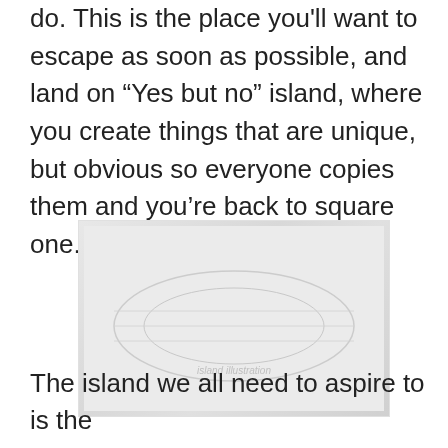do. This is the place you'll want to escape as soon as possible, and land on “Yes but no” island, where you create things that are unique, but obvious so everyone copies them and you’re back to square one.
[Figure (illustration): Faded/watermarked illustration, appears to show island or diagram imagery related to the text concept, rendered in light gray tones]
The island we all need to aspire to is the